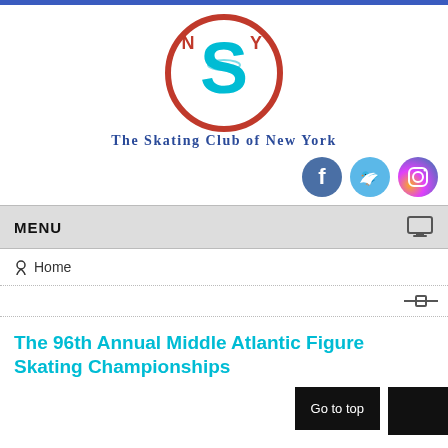[Figure (logo): The Skating Club of New York circular logo with NSY letters and ice skate, red and cyan color scheme]
The Skating Club of New York
[Figure (infographic): Social media icons: Facebook (blue circle with f), Twitter (light blue circle with bird), Instagram (gradient circle with camera icon)]
MENU
Home
The 96th Annual Middle Atlantic Figure Skating Championships
Go to top